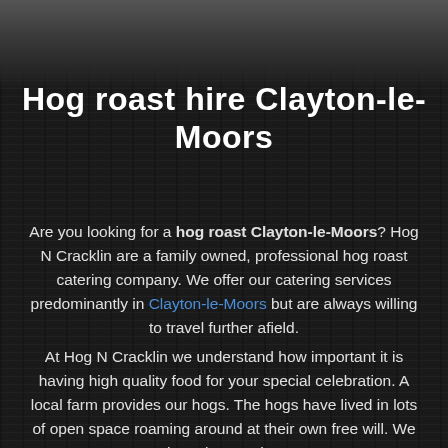Hog roast hire Clayton-le-Moors
Are you looking for a hog roast Clayton-le-Moors? Hog N Cracklin are a family owned, professional hog roast catering company. We offer our catering services predominantly in Clayton-le-Moors but are always willing to travel further afield.
At Hog N Cracklin we understand how important it is having high quality food for your special celebration. A local farm provides our hogs. The hogs have lived in lots of open space roaming around at their own free will. We have been using